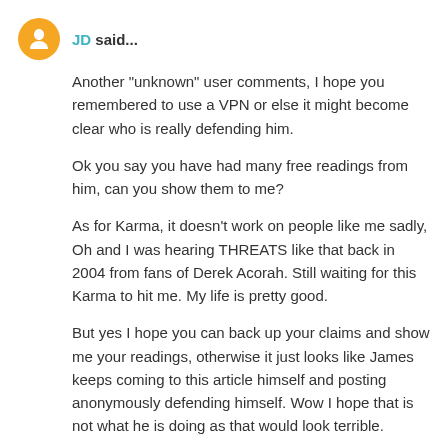JD said...
Another "unknown" user comments, I hope you remembered to use a VPN or else it might become clear who is really defending him.
Ok you say you have had many free readings from him, can you show them to me?
As for Karma, it doesn't work on people like me sadly, Oh and I was hearing THREATS like that back in 2004 from fans of Derek Acorah. Still waiting for this Karma to hit me. My life is pretty good.
But yes I hope you can back up your claims and show me your readings, otherwise it just looks like James keeps coming to this article himself and posting anonymously defending himself. Wow I hope that is not what he is doing as that would look terrible.
6 December 2017 at 12:17